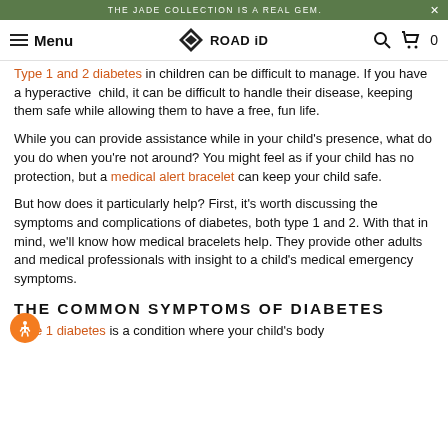THE JADE COLLECTION IS A REAL GEM.
Menu  ROAD iD
Type 1 and 2 diabetes in children can be difficult to manage. If you have a hyperactive child, it can be difficult to handle their disease, keeping them safe while allowing them to have a free, fun life.
While you can provide assistance while in your child's presence, what do you do when you're not around? You might feel as if your child has no protection, but a medical alert bracelet can keep your child safe.
But how does it particularly help? First, it's worth discussing the symptoms and complications of diabetes, both type 1 and 2. With that in mind, we'll know how medical bracelets help. They provide other adults and medical professionals with insight to a child's medical emergency symptoms.
THE COMMON SYMPTOMS OF DIABETES
Type 1 diabetes is a condition where your child's body